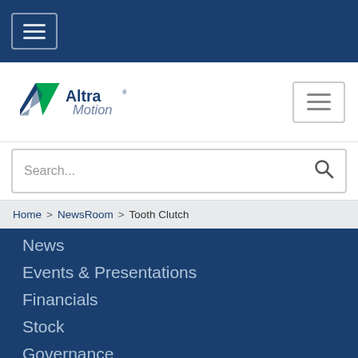[Figure (screenshot): Dark blue top navigation bar with hamburger menu button]
[Figure (logo): Altra Motion logo with green arrow icon and dark blue text]
Search...
Home > NewsRoom > Tooth Clutch
News
Events & Presentations
Financials
Stock
Governance
Corporate Responsibility
Resources